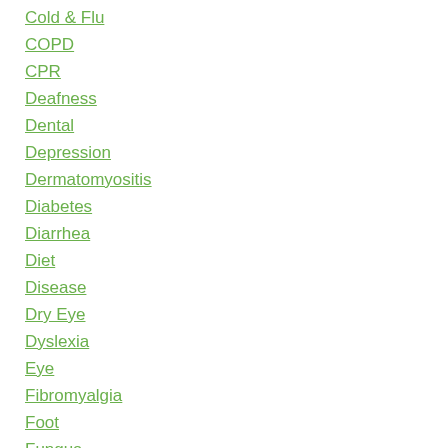Cold & Flu
COPD
CPR
Deafness
Dental
Depression
Dermatomyositis
Diabetes
Diarrhea
Diet
Disease
Dry Eye
Dyslexia
Eye
Fibromyalgia
Foot
Fungus
Headache
Heart Disease